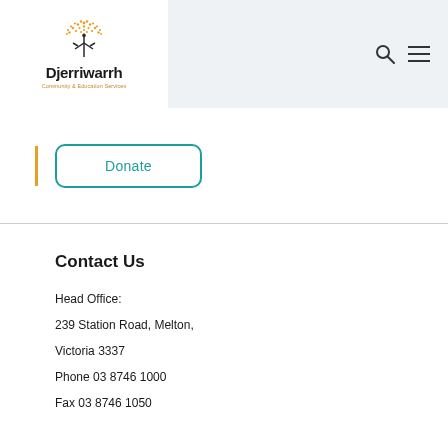[Figure (logo): Djerriwarrh Community & Education Services logo with tree icon and text]
Donate
Contact Us
Head Office:
239 Station Road, Melton,
Victoria 3337
Phone 03 8746 1000
Fax 03 8746 1050